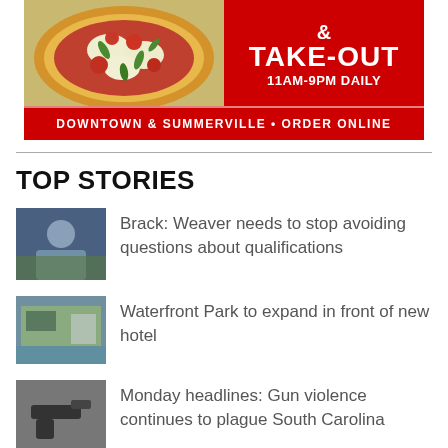[Figure (photo): Advertisement banner for pizza restaurant showing pizza photo on left, red background with '& TAKE-OUT 11AM-9PM DAILY' text on right, and bottom strip reading 'DOWNTOWN & SUMMERVILLE • ORDER ONLINE']
TOP STORIES
Brack: Weaver needs to stop avoiding questions about qualifications
Waterfront Park to expand in front of new hotel
Monday headlines: Gun violence continues to plague South Carolina
Closing of area's last roller rink sends skaters into spins
The Murder of Nicole Brown Simpson movie is as gross as you'd think